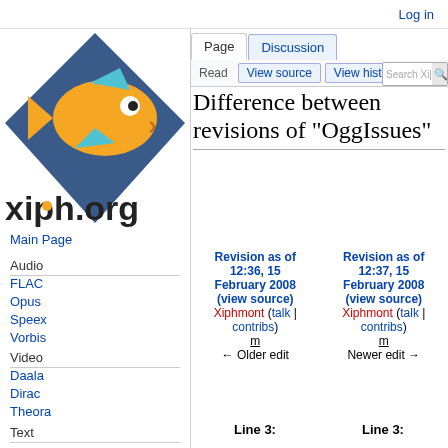Log in
[Figure (logo): xiph.org logo — diamond shape with orange fish and xiph.org text]
Main Page
Audio
FLAC
Opus
Speex
Vorbis
Video
Daala
Dirac
Theora
Text
Difference between revisions of "OggIssues"
| Revision as of 12:36, 15 February 2008 (view source) | Revision as of 12:37, 15 February 2008 (view source) |
| --- | --- |
| Xiphmont (talk | contribs) | Xiphmont (talk | contribs) |
| m | m |
| ← Older edit | Newer edit → |
Line 3:    Line 3: